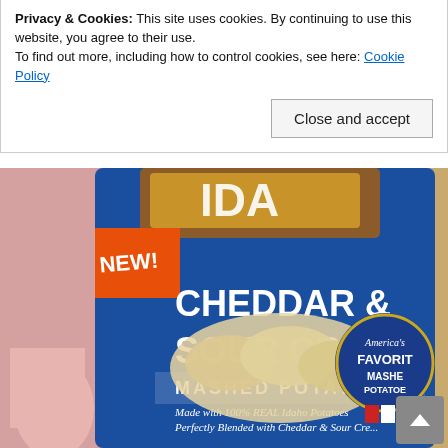Privacy & Cookies: This site uses cookies. By continuing to use this website, you agree to their use.
To find out more, including how to control cookies, see here: Cookie Policy
Close and accept
[Figure (photo): A hand holding a blue bag of Idaho brand Cheddar & Sour Cream Mashed Potatoes. The bag features 'NEW!' on an orange banner, 'CHEDDAR & SOUR CREAM' in large white text, 'MASHED POTATOES' in white text, and smaller text reading 'Made with 100% REAL Idaho Potatoes Perfectly Blended with Cheddar & Sour Cream'. A badge reads 'America's FAVORITE MASHED POTATOES'. An image of mashed potatoes is shown on the bag.]